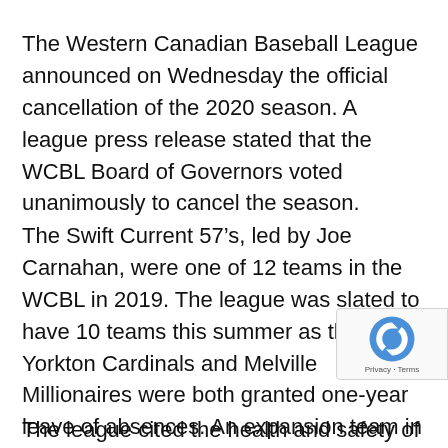The Western Canadian Baseball League announced on Wednesday the official cancellation of the 2020 season. A league press release stated that the WCBL Board of Governors voted unanimously to cancel the season.
The Swift Current 57’s, led by Joe Carnahan, were one of 12 teams in the WCBL in 2019. The league was slated to have 10 teams this summer as the Yorkton Cardinals and Melville Millionaires were both granted one-year leave of absences. An expansion team in Sylvan Lake, AB is expected to join the WCBL in 2021
The league cited the health and safety of the p...